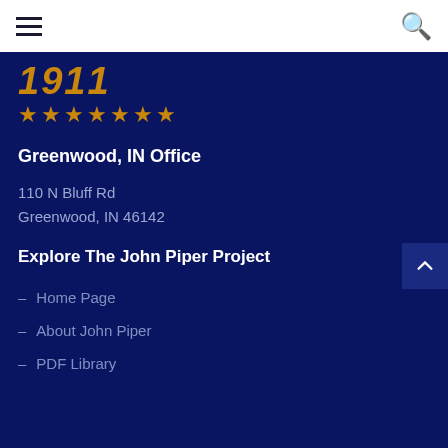Navigation menu with hamburger icon and search icon
[Figure (logo): Partial logo showing golden number '1911' in italic bold text with seven gold stars below, on dark navy background]
Greenwood, IN Office
110 N Bluff Rd
Greenwood, IN 46142
Explore The John Piper Project
– Home Page
– About John Piper
– PDF Library